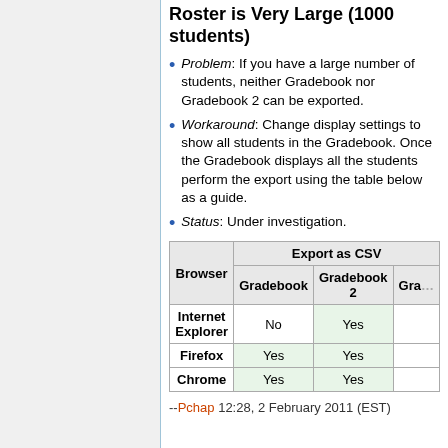Roster is Very Large (1000 students)
Problem: If you have a large number of students, neither Gradebook nor Gradebook 2 can be exported.
Workaround: Change display settings to show all students in the Gradebook. Once the Gradebook displays all the students perform the export using the table below as a guide.
Status: Under investigation.
| Browser | Export as CSV / Gradebook | Export as CSV / Gradebook 2 | Export as CSV / Gra... |
| --- | --- | --- | --- |
| Internet Explorer | No | Yes |  |
| Firefox | Yes | Yes |  |
| Chrome | Yes | Yes |  |
--Pchap 12:28, 2 February 2011 (EST)